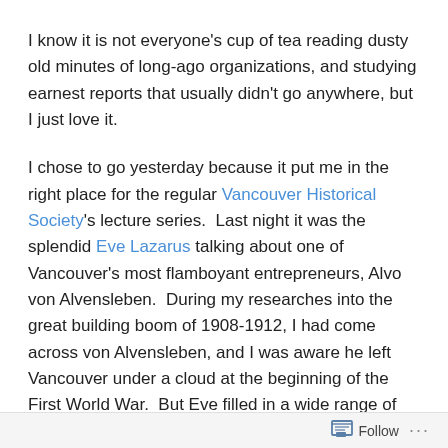I know it is not everyone's cup of tea reading dusty old minutes of long-ago organizations, and studying earnest reports that usually didn't go anywhere, but I just love it.
I chose to go yesterday because it put me in the right place for the regular Vancouver Historical Society's lecture series.  Last night it was the splendid Eve Lazarus talking about one of Vancouver's most flamboyant entrepreneurs, Alvo von Alvensleben.  During my researches into the great building boom of 1908-1912, I had come across von Alvensleben, and I was aware he left Vancouver under a cloud at the beginning of the First World War.  But Eve filled in a wide range of detail, from his family in Germany, through his investment exploits in Vancouver, to his later life in Seattle.  It was a fine talk, a packed room, and a
Follow ...